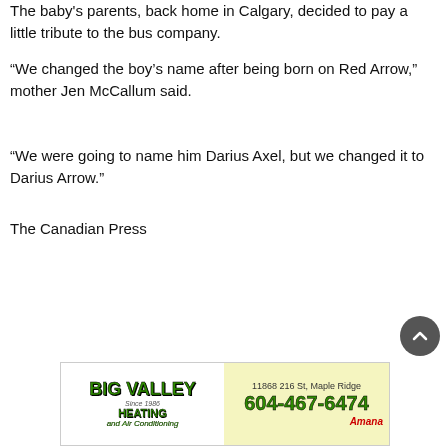The baby's parents, back home in Calgary, decided to pay a little tribute to the bus company.
“We changed the boy’s name after being born on Red Arrow,” mother Jen McCallum said.
“We were going to name him Darius Axel, but we changed it to Darius Arrow.”
The Canadian Press
[Figure (illustration): Advertisement for Big Valley Heating and Air Conditioning showing company name in green bold text on white background left side, and address 11868 216 St, Maple Ridge with phone number 604-467-6474 in green on yellow-green background right side, with Amana brand logo in red at bottom right.]